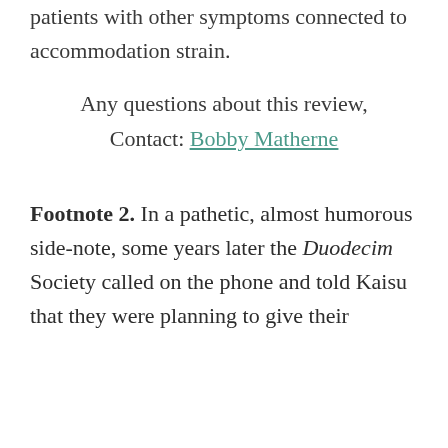patients with other symptoms connected to accommodation strain.
Any questions about this review, Contact: Bobby Matherne
Footnote 2. In a pathetic, almost humorous side-note, some years later the Duodecim Society called on the phone and told Kaisu that they were planning to give their